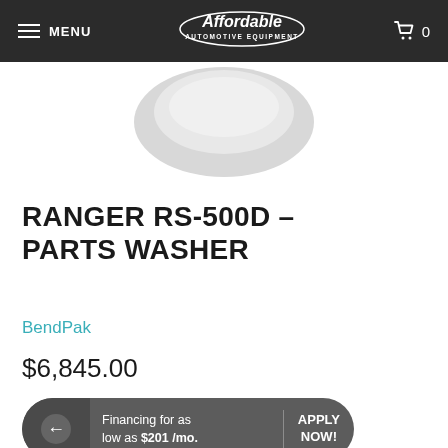MENU | Affordable Automotive Equipment | 0
[Figure (photo): Partial product image of parts washer, light gray on white background]
RANGER RS-500D - PARTS WASHER
BendPak
$6,845.00
Financing for as low as $201 /mo. APPLY NOW!